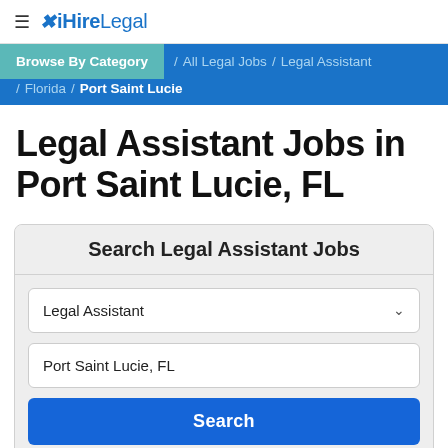≡ iHireLegal
Browse By Category / All Legal Jobs / Legal Assistant / Florida / Port Saint Lucie
Legal Assistant Jobs in Port Saint Lucie, FL
Search Legal Assistant Jobs
Legal Assistant
Port Saint Lucie, FL
Search